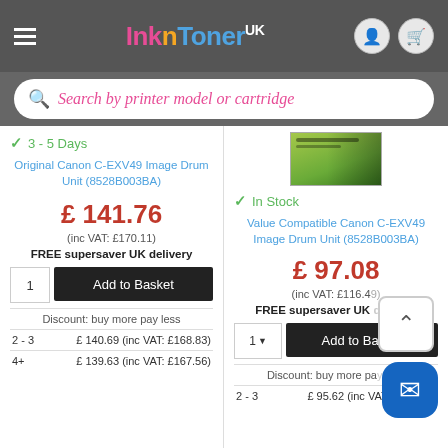InknToner UK
Search by printer model or cartridge
3 - 5 Days
Original Canon C-EXV49 Image Drum Unit (8528B003BA)
£ 141.76 (inc VAT: £170.11)
FREE supersaver UK delivery
Discount: buy more pay less
| Qty | Price |
| --- | --- |
| 2 - 3 | £ 140.69 (inc VAT: £168.83) |
| 4+ | £ 139.63 (inc VAT: £167.56) |
[Figure (photo): Green product box image for Value Compatible Canon C-EXV49 Image Drum Unit]
In Stock
Value Compatible Canon C-EXV49 Image Drum Unit (8528B003BA)
£ 97.08 (inc VAT: £116.49)
FREE supersaver UK delivery
Discount: buy more pay less
| Qty | Price |
| --- | --- |
| 2 - 3 | £ 95.62 (inc VAT: £114.74) |